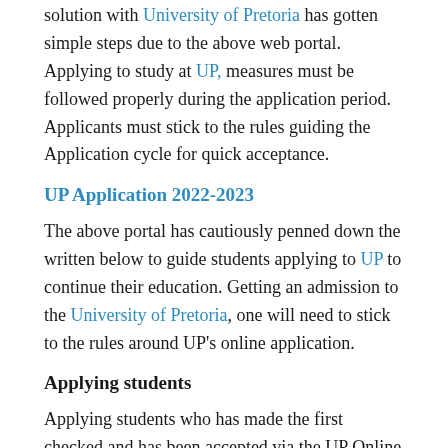solution with University of Pretoria has gotten simple steps due to the above web portal. Applying to study at UP, measures must be followed properly during the application period. Applicants must stick to the rules guiding the Application cycle for quick acceptance.
UP Application 2022-2023
The above portal has cautiously penned down the written below to guide students applying to UP to continue their education. Getting an admission to the University of Pretoria, one will need to stick to the rules around UP's online application.
Applying students
Applying students who has made the first checked and has been accepted via the UP Online Call Centre that you are qualified; you'll get a verbal talk from UP. The talk you will receive from the University of Pretoria will give you a link